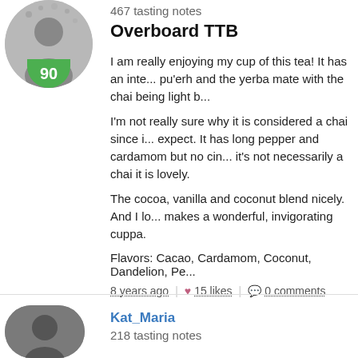467 tasting notes
Overboard TTB
I am really enjoying my cup of this tea! It has an inte... pu'erh and the yerba mate with the chai being light b...
I'm not really sure why it is considered a chai since i... expect. It has long pepper and cardamom but no cin... it's not necessarily a chai it is lovely.
The cocoa, vanilla and coconut blend nicely. And I lo... makes a wonderful, invigorating cuppa.
Flavors: Cacao, Cardamom, Coconut, Dandelion, Pe...
8 years ago | 15 likes | 0 comments
Kat_Maria
218 tasting notes